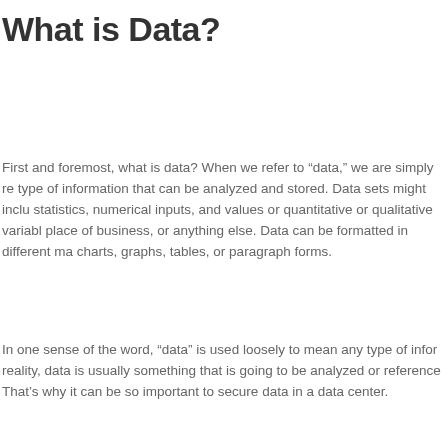What is Data?
First and foremost, what is data? When we refer to “data,” we are simply re type of information that can be analyzed and stored. Data sets might inclu statistics, numerical inputs, and values or quantitative or qualitative variabl place of business, or anything else. Data can be formatted in different ma charts, graphs, tables, or paragraph forms.
In one sense of the word, “data” is used loosely to mean any type of infor reality, data is usually something that is going to be analyzed or reference That’s why it can be so important to secure data in a data center.